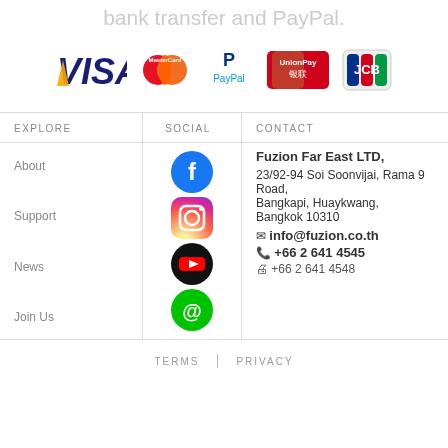bank transfer and PayPal.
[Figure (logo): Payment method logos: VISA, MasterCard, PayPal, UnionPay, JCB]
| EXPLORE | SOCIAL | CONTACT |
| --- | --- | --- |
| About | [Facebook icon] | Fuzion Far East LTD, 23/92-94 Soi Soonvijai, Rama 9 Road, Bangkapi, Huaykwang, Bangkok 10310 | info@fuzion.co.th | +66 2 641 4545 | +66 2 641 4548 |
| Support | [Instagram icon] |  |
| News | [YouTube icon] |  |
| Join Us | [Line icon] |  |
TERMS | PRIVACY